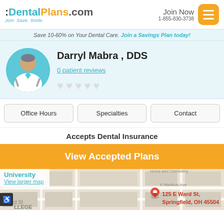DentalPlans.com — Join. Save. Smile. | Join Now 1-855-830-3738
Save 10-60% on Your Dental Care. Join a Savings Plan today!
Darryl Mabra , DDS
0 patient reviews
Office Hours | Specialties | Contact
Accepts Dental Insurance
View Accepted Plans
[Figure (map): Street map showing location at 125 E Ward St, Springfield, OH 45504 with a red pin marker. Shows University label, Home and Crematory label, E Madison Ave, Ward St. View larger map link visible.]
125 E Ward St, Springfield, OH 45504